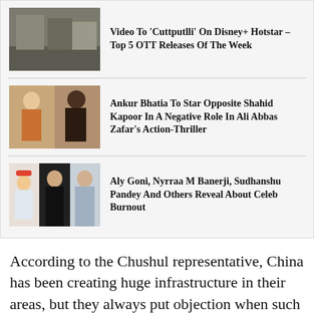[Figure (photo): Thumbnail image for OTT news article]
Video To 'Cuttputlli' On Disney+ Hotstar – Top 5 OTT Releases Of The Week
[Figure (photo): Thumbnail image showing two men, one in a brown jacket]
Ankur Bhatia To Star Opposite Shahid Kapoor In A Negative Role In Ali Abbas Zafar's Action-Thriller
[Figure (photo): Thumbnail image showing three people including a man in a cap, a woman in black, and a man in grey]
Aly Goni, Nyrraa M Banerji, Sudhanshu Pandey And Others Reveal About Celeb Burnout
According to the Chushul representative, China has been creating huge infrastructure in their areas, but they always put objection when such infrastructure is created from the Indian side.